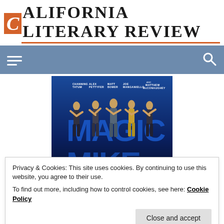California Literary Review
[Figure (screenshot): Navigation bar with hamburger menu icon on left and search icon on right, steel blue background]
[Figure (photo): Magic Mike movie poster showing five shirtless male actors on stage with blue MAGIC lettering in background. Cast names listed: Channing Tatum, Alex Pettyfer, Matt Bomer, Joe Manganiello, Matthew McConaughey]
Privacy & Cookies: This site uses cookies. By continuing to use this website, you agree to their use.
To find out more, including how to control cookies, see here: Cookie Policy
Close and accept
MOVIES